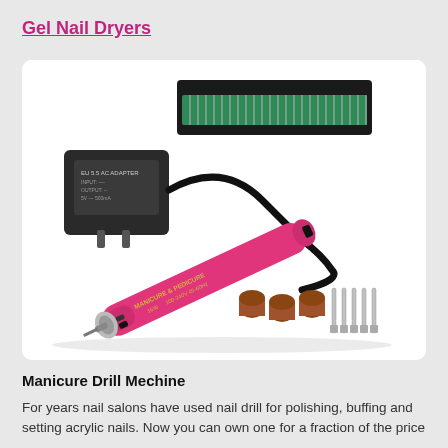Gel Nail Dryers
[Figure (photo): A pink electric nail drill / manicure machine with black power adapter, a set of green nail drill bits in a black case, sanding bands, and metal drill bit attachments.]
Manicure Drill Mechine
For years nail salons have used nail drill for polishing, buffing and setting acrylic nails. Now you can own one for a fraction of the price